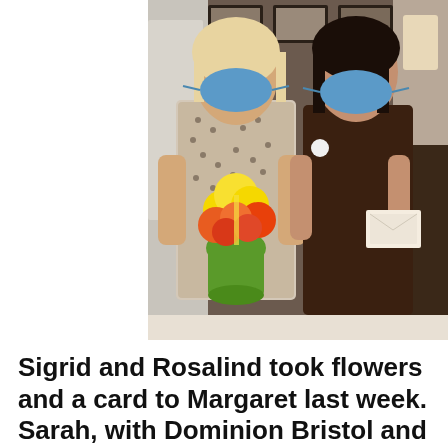[Figure (photo): Two women wearing blue face masks standing indoors. The woman on the left holds a bright flower bouquet in a green pot with yellow, orange, and red flowers. The woman on the right wears a brown top and holds papers or an envelope. Background shows framed pictures and interior decor.]
Sigrid and Rosalind took flowers and a card to Margaret last week. Sarah, with Dominion Bristol and pictured above with Sigrid, coordinated our visit.  In addition to delivering the flowers and the card to Margaret, Sarah arranged for us to